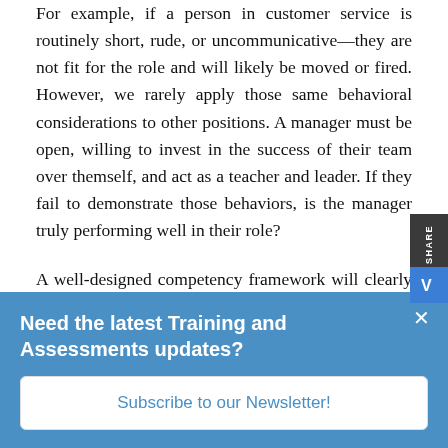For example, if a person in customer service is routinely short, rude, or uncommunicative—they are not fit for the role and will likely be moved or fired. However, we rarely apply those same behavioral considerations to other positions. A manager must be open, willing to invest in the success of their team over themself, and act as a teacher and leader. If they fail to demonstrate those behaviors, is the manager truly performing well in their role?
A well-designed competency framework will clearly define organizational values, focus on job and career
Need the latest Training and Assessments updates?
Subscribe to our Newsletter!